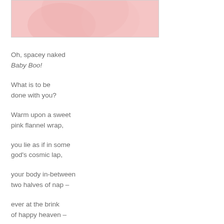[Figure (photo): A pink-toned photograph or illustration, partially visible at top of page, showing a soft pink background with subtle curved shapes.]
Oh, spacey naked
Baby Boo!

What is to be
done with you?

Warm upon a sweet
pink flannel wrap,

you lie as if in some
god's cosmic lap,

your body in-between
two halves of nap –

ever at the brink
of happy heaven –

fat and smooth and ripe